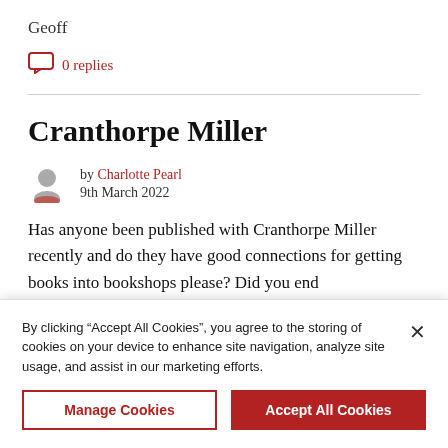Geoff
0 replies
Cranthorpe Miller
by Charlotte Pearl
9th March 2022
Has anyone been published with Cranthorpe Miller recently and do they have good connections for getting books into bookshops please? Did you end
By clicking “Accept All Cookies”, you agree to the storing of cookies on your device to enhance site navigation, analyze site usage, and assist in our marketing efforts.
Manage Cookies
Accept All Cookies